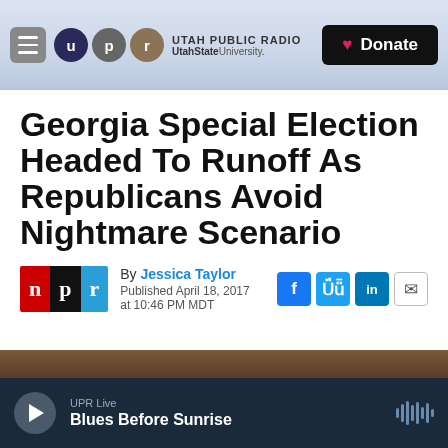Utah Public Radio — UtahStateUniversity. | Donate
Georgia Special Election Headed To Runoff As Republicans Avoid Nightmare Scenario
By Jessica Taylor
Published April 18, 2017 at 10:46 PM MDT
[Figure (screenshot): NPR logo with n (red), p (black), r (blue) blocks]
[Figure (infographic): Social sharing icons: Facebook (f), Twitter bird, LinkedIn (in), email envelope]
[Figure (photo): Partial photo strip at bottom, dark brown/warm tones]
UPR Live — Blues Before Sunrise